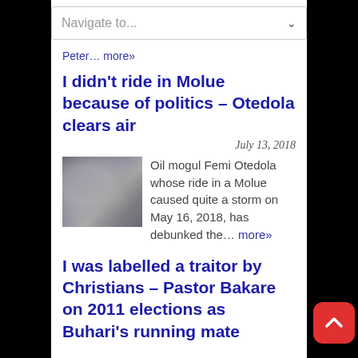Navigate to...
Peter… more»
I didn't ride in Molue because of politics – Otedola clears air
July 13, 2018
[Figure (photo): Photo of Femi Otedola]
Oil mogul Femi Otedola whose ride in a Molue caused quite a storm on May 16, 2018, has debunked the… more»
I was labelled a traitor by Christians – Pastor Bakare on 2011 elections as Buhari's running mate